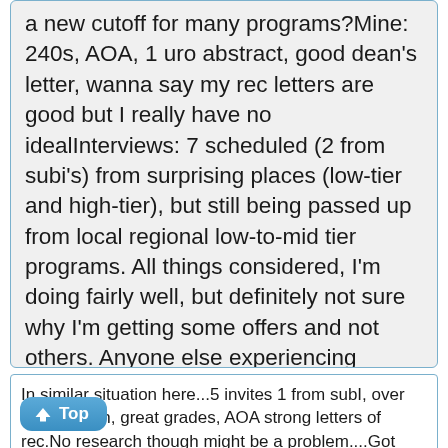a new cutoff for many programs?Mine: 240s, AOA, 1 uro abstract, good dean's letter, wanna say my rec letters are good but I really have no idealInterviews: 7 scheduled (2 from subi's) from surprising places (low-tier and high-tier), but still being passed up from local regional low-to-mid tier programs. All things considered, I'm doing fairly well, but definitely not sure why I'm getting some offers and not others. Anyone else experiencing something similar?
In similar situation here...5 invites 1 from subI, over 250 on both, great grades, AOA strong letters of rec.No research though might be a problem....Got passed up by all the regional programs got interviews from surprising places.